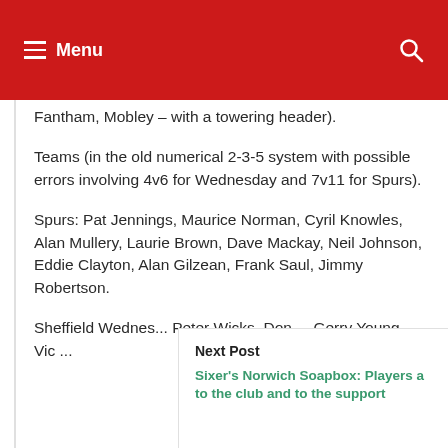Menu
Fantham, Mobley – with a towering header).
Teams (in the old numerical 2-3-5 system with possible errors involving 4v6 for Wednesday and 7v11 for Spurs).
Spurs: Pat Jennings, Maurice Norman, Cyril Knowles, Alan Mullery, Laurie Brown, Dave Mackay, Neil Johnson, Eddie Clayton, Alan Gilzean, Frank Saul, Jimmy Robertson.
Sheffield Wednes... Peter Wicks, Don ... Gerry Young, Vic ...
Next Post
Sixer's Norwich Soapbox: Players a... to the club and to the support